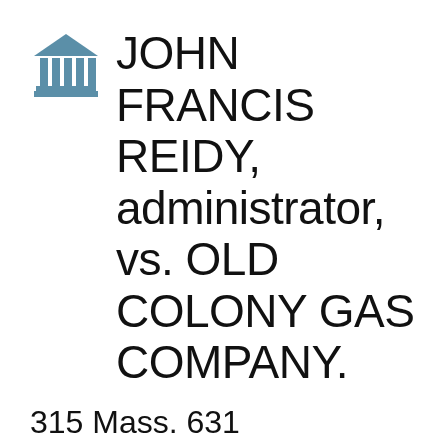JOHN FRANCIS REIDY, administrator, vs. OLD COLONY GAS COMPANY.
315 Mass. 631
March 3, 1942 - March 6, 1944
Norfolk County
Present: FIELD, C.J., DONAHUE, QUA, & RONAN, JJ.